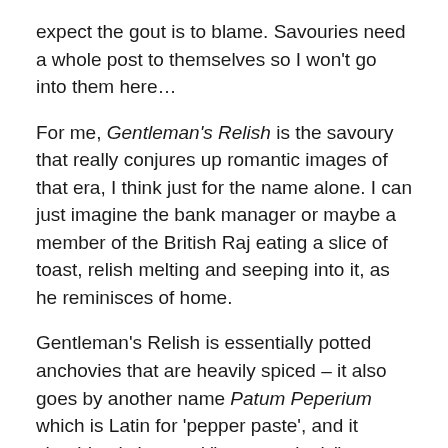expect the gout is to blame. Savouries need a whole post to themselves so I won't go into them here…
For me, Gentleman's Relish is the savoury that really conjures up romantic images of that era, I think just for the name alone. I can just imagine the bank manager or maybe a member of the British Raj eating a slice of toast, relish melting and seeping into it, as he reminisces of home.
Gentleman's Relish is essentially potted anchovies that are heavily spiced – it also goes by another name Patum Peperium which is Latin for 'pepper paste', and it should only be used "very sparingly".
It was invented in 1828 by John Osborn an expatriate living in Paris which, when he unveiled it the Paris Food